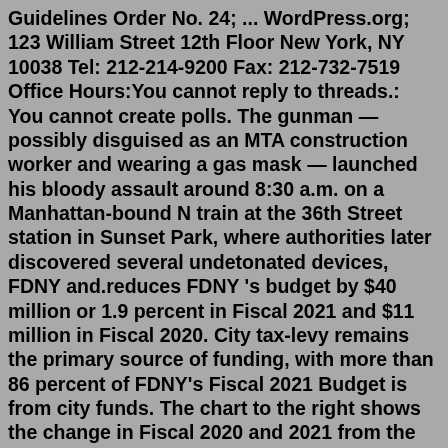Guidelines Order No. 24; ... WordPress.org; 123 William Street 12th Floor New York, NY 10038 Tel: 212-214-9200 Fax: 212-732-7519 Office Hours:You cannot reply to threads.: You cannot create polls. The gunman — possibly disguised as an MTA construction worker and wearing a gas mask — launched his bloody assault around 8:30 a.m. on a Manhattan-bound N train at the 36th Street station in Sunset Park, where authorities later discovered several undetonated devices, FDNY and.reduces FDNY 's budget by $40 million or 1.9 percent in Fiscal 2021 and $11 million in Fiscal 2020. City tax-levy remains the primary source of funding, with more than 86 percent of FDNY's Fiscal 2021 Budget is from city funds. The chart to the right shows the change in Fiscal 2020 and 2021 from the Adopted Plan to the Executive Plan.Update on vaccine mandate lawsuit and religious accomodations Dec 07, 2018 · (An FDNY organizational chart shows that the Chief of the Department and First Deputy Commissioner are at the bulk of the department...